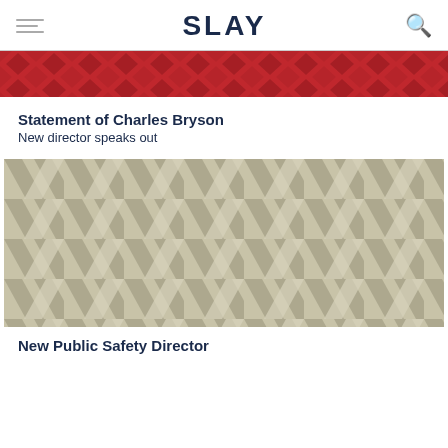SLAY
[Figure (illustration): Red decorative banner with a repeating diamond/chevron pattern in darker red on a red background]
Statement of Charles Bryson
New director speaks out
[Figure (illustration): Large beige/tan woven basket-weave pattern image with interlocking diagonal ribbons in shades of tan, beige, and olive]
New Public Safety Director